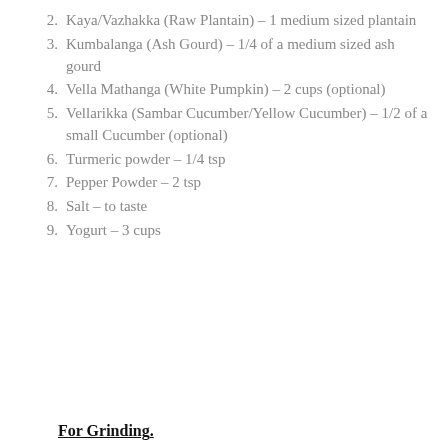2. Kaya/Vazhakka (Raw Plantain) – 1 medium sized plantain
3. Kumbalanga (Ash Gourd) – 1/4 of a medium sized ash gourd
4. Vella Mathanga (White Pumpkin) – 2 cups (optional)
5. Vellarikka (Sambar Cucumber/Yellow Cucumber) – 1/2 of a small Cucumber (optional)
6. Turmeric powder – 1/4 tsp
7. Pepper Powder – 2 tsp
8. Salt – to taste
9. Yogurt – 3 cups
For Grinding.